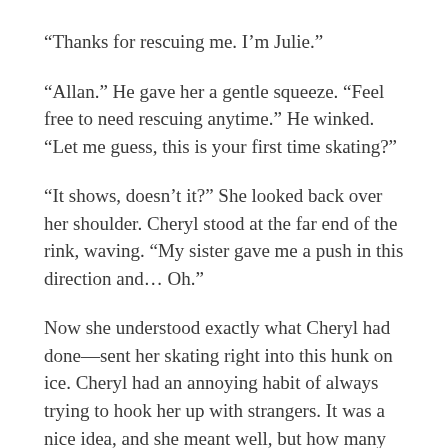“Thanks for rescuing me. I’m Julie.”
“Allan.” He gave her a gentle squeeze. “Feel free to need rescuing anytime.” He winked. “Let me guess, this is your first time skating?”
“It shows, doesn’t it?” She looked back over her shoulder. Cheryl stood at the far end of the rink, waving. “My sister gave me a push in this direction and… Oh.”
Now she understood exactly what Cheryl had done—sent her skating right into this hunk on ice. Cheryl had an annoying habit of always trying to hook her up with strangers. It was a nice idea, and she meant well, but how many times had she flirted like crazy only to